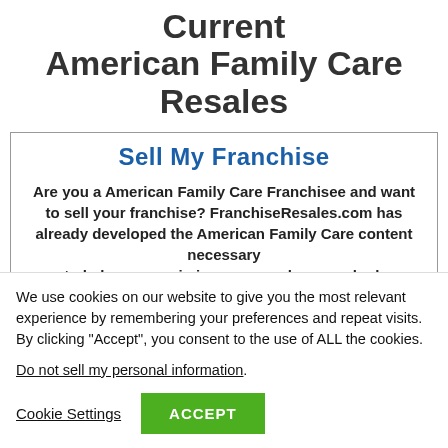Current American Family Care Resales
Sell My Franchise
Are you a American Family Care Franchisee and want to sell your franchise? FranchiseResales.com has already developed the American Family Care content necessary to help you maximize your reach as you look…
We use cookies on our website to give you the most relevant experience by remembering your preferences and repeat visits. By clicking “Accept”, you consent to the use of ALL the cookies.
Do not sell my personal information.
Cookie Settings  ACCEPT